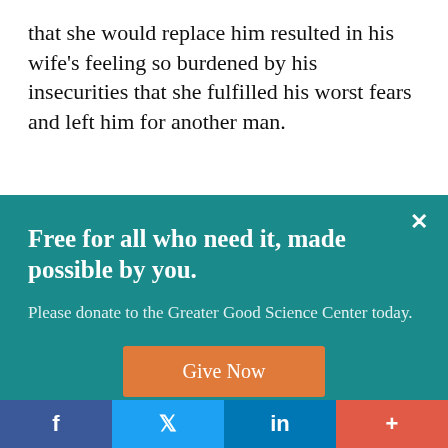that she would replace him resulted in his wife's feeling so burdened by his insecurities that she fulfilled his worst fears and left him for another man.
In other words, just because you feel that you
Free for all who need it, made possible by you.
Please donate to the Greater Good Science Center today.
Give Now
f  t  in  +